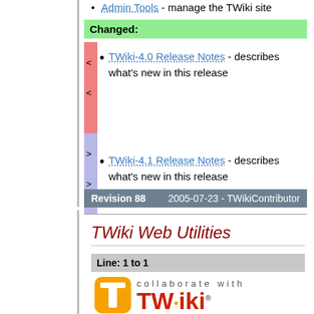Admin Tools - manage the TWiki site
Changed:
TWiki-4.0 Release Notes - describes what's new in this release
TWiki-4.1 Release Notes - describes what's new in this release
TWiki Web Utilities
Revision 88    2005-07-23 - TWikiContributor
Line: 1 to 1
[Figure (logo): TWiki logo with 'collaborate with TWiki' text and orange T icon]